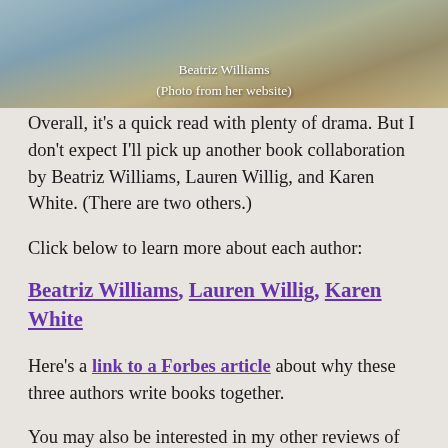[Figure (photo): Partial photo of Beatriz Williams with caption text overlay reading 'Beatriz Williams' and '(Photo from her website)']
Overall, it’s a quick read with plenty of drama. But I don’t expect I’ll pick up another book collaboration by Beatriz Williams, Lauren Willig, and Karen White. (There are two others.)
Click below to learn more about each author:
Beatriz Williams, Lauren Willig, Karen White
Here’s a link to a Forbes article about why these three authors write books together.
You may also be interested in my other reviews of other books by these authors: